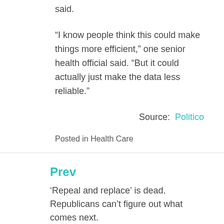said.
“I know people think this could make things more efficient,” one senior health official said. “But it could actually just make the data less reliable.”
Source: Politico
Posted in Health Care
Prev
‘Repeal and replace’ is dead. Republicans can’t figure out what comes next.
Next
The most important person you don’t know